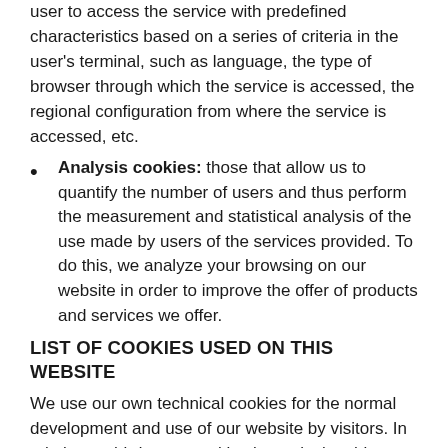user to access the service with predefined characteristics based on a series of criteria in the user's terminal, such as language, the type of browser through which the service is accessed, the regional configuration from where the service is accessed, etc.
Analysis cookies: those that allow us to quantify the number of users and thus perform the measurement and statistical analysis of the use made by users of the services provided. To do this, we analyze your browsing on our website in order to improve the offer of products and services we offer.
LIST OF COOKIES USED ON THIS WEBSITE
We use our own technical cookies for the normal development and use of our website by visitors. In relation to third-party cookies in particular, this website uses the following third-party cookies: